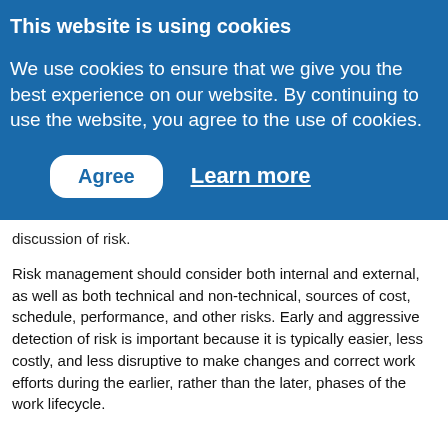This website is using cookies
We use cookies to ensure that we give you the best experience on our website. By continuing to use the website, you agree to the use of cookies.
Agree   Learn more
discussion of risk.
Risk management should consider both internal and external, as well as both technical and non-technical, sources of cost, schedule, performance, and other risks. Early and aggressive detection of risk is important because it is typically easier, less costly, and less disruptive to make changes and correct work efforts during the earlier, rather than the later, phases of the work lifecycle.